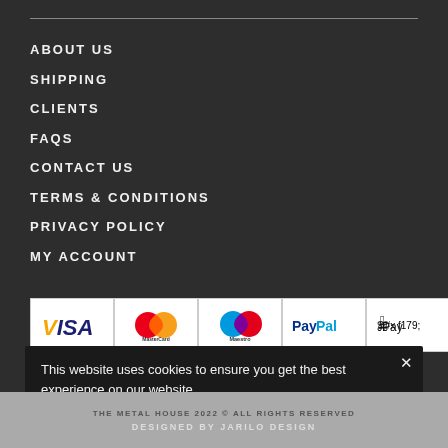ABOUT US
SHIPPING
CLIENTS
FAQS
CONTACT US
TERMS & CONDITIONS
PRIVACY POLICY
MY ACCOUNT
[Figure (other): Payment method logos: Visa, MasterCard, Maestro, PayPal, Apple Pay]
This website uses cookies to ensure you get the best experience on our website. More Info
THE METAL HOUSE 2022 © ALL RIGHTS RESERVED
DESIGNED BY JARILO DESIGN